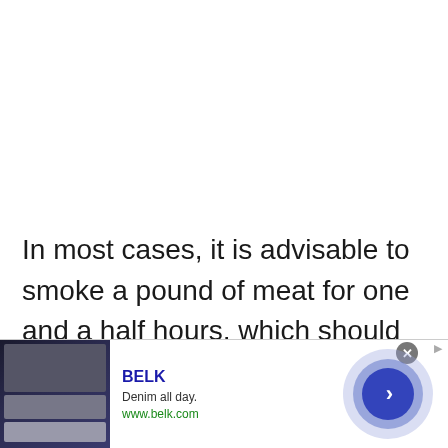In most cases, it is advisable to smoke a pound of meat for one and a half hours, which should allow plenty of time to deliver a delicious meal.
[Figure (other): Advertisement banner for BELK featuring denim clothing images, brand name, tagline 'Denim all day.', website www.belk.com, close button, and navigation arrow button]